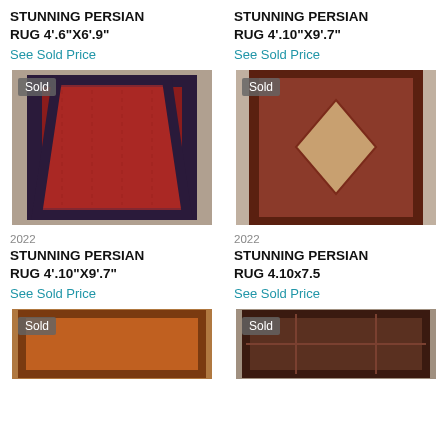STUNNING PERSIAN RUG 4'.6"X6'.9"
See Sold Price
STUNNING PERSIAN RUG 4'.10"X9'.7"
See Sold Price
[Figure (photo): Red Persian runner rug with dark border, Sold badge]
[Figure (photo): Red/burgundy Persian area rug with medallion, Sold badge]
2022
STUNNING PERSIAN RUG 4'.10"X9'.7"
See Sold Price
2022
STUNNING PERSIAN RUG 4.10x7.5
See Sold Price
[Figure (photo): Partial view of orange/red Persian rug, Sold badge]
[Figure (photo): Partial view of dark Persian rug with pattern, Sold badge]